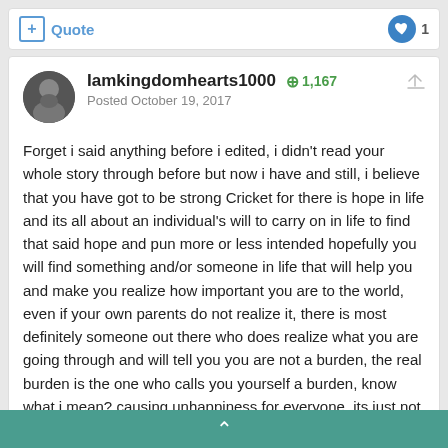+ Quote   ♥ 1
Iamkingdomhearts1000  +1,167
Posted October 19, 2017
Forget i said anything before i edited, i didn't read your whole story through before but now i have and still, i believe that you have got to be strong Cricket for there is hope in life and its all about an individual's will to carry on in life to find that said hope and pun more or less intended hopefully you will find something and/or someone in life that will help you and make you realize how important you are to the world, even if your own parents do not realize it, there is most definitely someone out there who does realize what you are going through and will tell you you are not a burden, the real burden is the one who calls you yourself a burden, know what i mean? causing unhappiness for everyone, its just not right, there's nothing for him to gain out of it and you just end up feeling sad because he called you something me and many others here who both know you and don't know you know that you are not, you are you, you are your very own person, no more, no less, how can anyone be